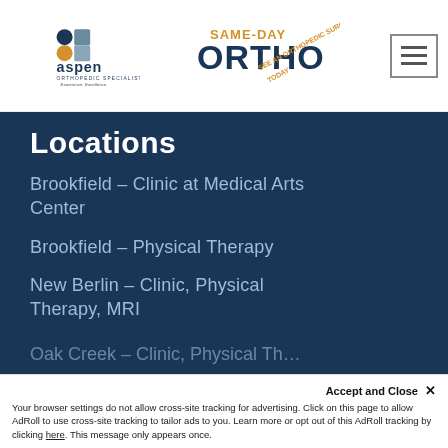[Figure (logo): Aspen Orthopedic Specialists logo with icon and tagline 'Experience. Excellence.']
[Figure (logo): Same-Day Ortho promotional logo — 'SAME-DAY ORTHO See an Orthopedic Surgeon Today']
Locations
Brookfield – Clinic at Medical Arts Center
Brookfield – Physical Therapy
New Berlin – Clinic, Physical Therapy, MRI
Oak Creek – Clinic, Physical Th…
Accept and Close ✕
Your browser settings do not allow cross-site tracking for advertising. Click on this page to allow AdRoll to use cross-site tracking to tailor ads to you. Learn more or opt out of this AdRoll tracking by clicking here. This message only appears once.